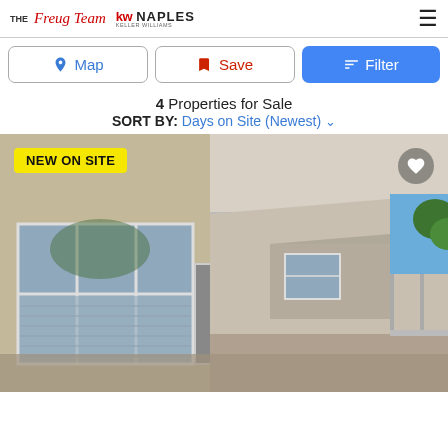THE Freug Team | KW NAPLES KELLER WILLIAMS
Map | Save | Filter
4 Properties for Sale
SORT BY: Days on Site (Newest)
[Figure (photo): Exterior hallway/balcony of a beige stucco residential building with large windows with blinds, a covered walkway, and palm trees visible in the background under blue sky. Badge overlay: NEW ON SITE]